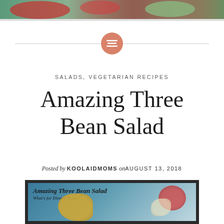[Figure (photo): Partial food/salad photo cropped at top of page showing colorful vegetables]
[Figure (other): Decorative divider with salmon-colored circle icon containing horizontal lines, flanked by horizontal rules]
SALADS, VEGETARIAN RECIPES
Amazing Three Bean Salad
Posted by KOOLAIDMOMS on AUGUST 13, 2018
[Figure (photo): Food photo of Amazing Three Bean Salad with text overlay reading 'Amazing Three Bean Salad - What's for Dinner Moms?' on a blue background with food items visible]